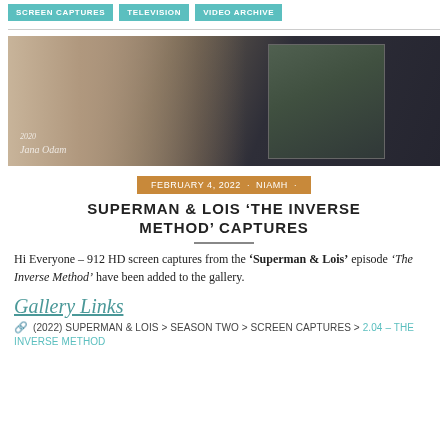SCREEN CAPTURES   TELEVISION   VIDEO ARCHIVE
[Figure (photo): A hand holding a photograph of a dark-haired woman against a dark background, with a handwritten signature in the lower left corner.]
FEBRUARY 4, 2022 · NIAMH ·
SUPERMAN & LOIS 'THE INVERSE METHOD' CAPTURES
Hi Everyone – 912 HD screen captures from the 'Superman & Lois' episode 'The Inverse Method' have been added to the gallery.
Gallery Links
(2022) SUPERMAN & LOIS > SEASON TWO > SCREEN CAPTURES > 2.04 – THE INVERSE METHOD